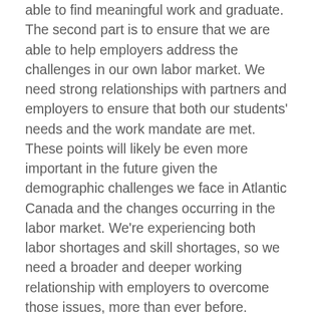able to find meaningful work and graduate. The second part is to ensure that we are able to help employers address the challenges in our own labor market. We need strong relationships with partners and employers to ensure that both our students' needs and the work mandate are met. These points will likely be even more important in the future given the demographic challenges we face in Atlantic Canada and the changes occurring in the labor market. We're experiencing both labor shortages and skill shortages, so we need a broader and deeper working relationship with employers to overcome those issues, more than ever before.
It's probably one of the most important components of the economic development approach. If you're looking at an employer's most important asset, it's the employees